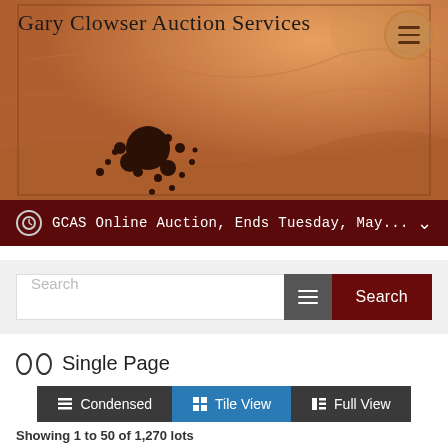Gary Clowser Auction Services
GCAS Online Auction, Ends Tuesday, May...
[Figure (screenshot): Search bar with filter icon and Search button]
Single Page
Condensed  Tile View  Full View
Showing 1 to 50 of 1,270 lots